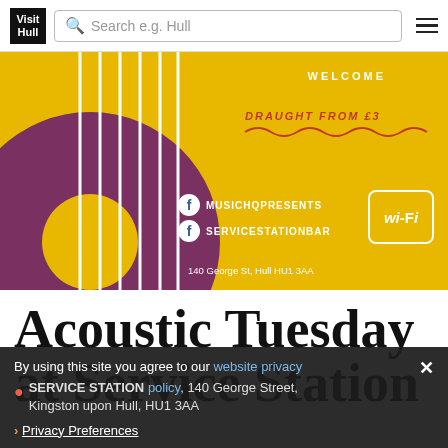Visit Hull – Search e.g. Hull
[Figure (illustration): Promotional poster for Acoustic Tuesday at Service Station bar. Yellow background with a stylized acoustic guitar (dark purple/maroon) on the left. Text: WELCOME, DRAUGHT FROM £3, Facebook icons with MUSICHQPRESENTS and SERVICESTATIONBAR, Wi-Fi badge, address 140 George St, Hull HU1 3AA]
Acoustic Tuesday at Service Station
By using this site you agree to our website privacy policy
SERVICE STATION, 140 George Street, Kingston upon Hull, HU1 3AA
› Privacy Preferences